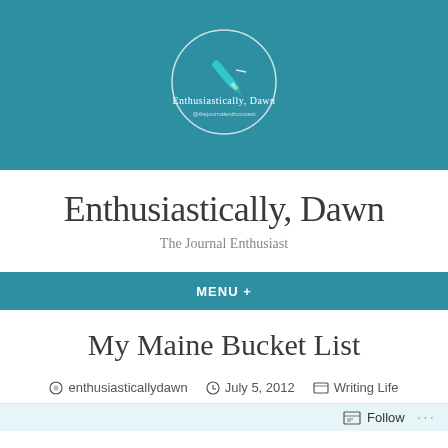[Figure (logo): Circular logo with teal background, pen/quill icon in teal/cyan, cursive text 'Enthusiastically, Dawn' and subtitle '@thejournalenthousiast' on white circle outline]
Enthusiastically, Dawn
The Journal Enthusiast
MENU +
My Maine Bucket List
enthusiasticallydawn   July 5, 2012   Writing Life